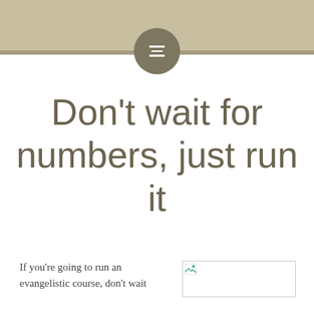[Figure (other): Decorative header bar in tan/beige color with a circular menu icon (hamburger menu) centered at the bottom edge of the bar]
Don’t wait for numbers, just run it
If you’re going to run an evangelistic course, don’t wait
[Figure (photo): Broken/placeholder image rectangle]